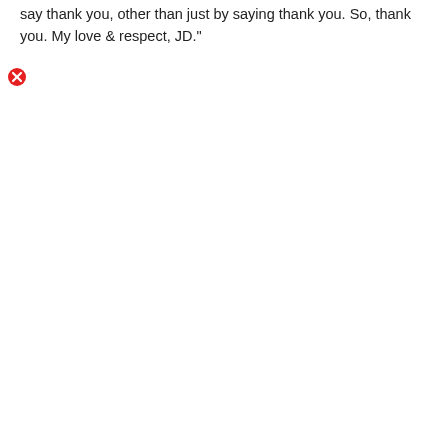say thank you, other than just by saying thank you. So, thank you. My love & respect, JD."
[Figure (other): Red circle with white X icon]